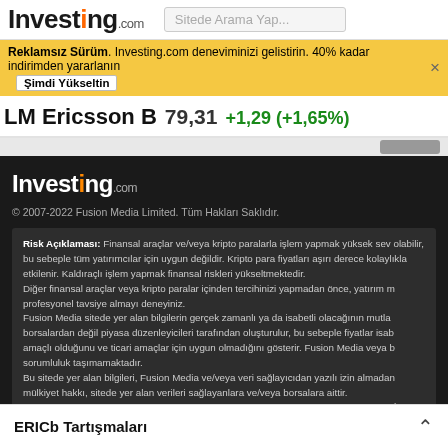Investing.com
Reklamsız Sürüm. Investing.com deneviminizi gelistirin. 40% kadar indirimden yararlanın  Şimdi Yükseltin
LM Ericsson B  79,31  +1,29 (+1,65%)
[Figure (logo): Investing.com logo in white on dark background]
© 2007-2022 Fusion Media Limited. Tüm Hakları Saklıdır.
Risk Açıklaması: Finansal araçlar ve/veya kripto paralarla işlem yapmak yüksek sev olabilir, bu sebeple tüm yatırımcılar için uygun değildir. Kripto para fiyatları aşırı derece kolaylıkla etkilenir. Kaldıraçlı işlem yapmak finansal riskleri yükseltmektedir. Diğer finansal araçlar veya kripto paralar içinden tercihinizi yapmadan önce, yatırım m profesyonel tavsiye almayı deneyiniz. Fusion Media sitede yer alan bilgilerin gerçek zamanlı ya da isabetli olacağının mutla borsalardan değil piyasa düzenleyicileri tarafından oluşturulur, bu sebeple fiyatlar isab amaçlı olduğunu ve ticari amaçlar için uygun olmadığını gösterir. Fusion Media veya b sorumluluk taşımamaktadır. Bu sitede yer alan bilgileri, Fusion Media ve/veya veri sağlayıcıdan yazılı izin almadan mülkiyet hakkı, sitede yer alan verileri sağlayanlara ve/veya borsalara aittir. Fusion Media reklamlarla veya reklam verenlerle etkileşiminize bağlı olarak internet s İşbu sözleşmenin aslı İngilizcedir ve İngilizce ve Türkçe versiyonu arasında tutarsızlık
ERICb Tartışmaları